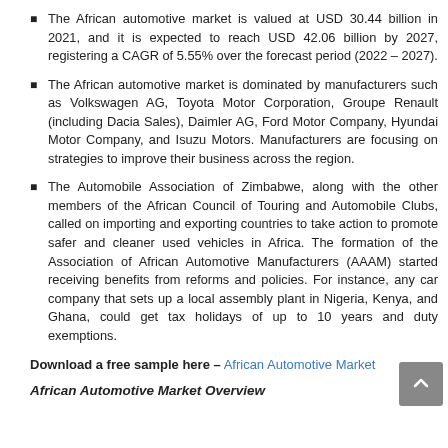The African automotive market is valued at USD 30.44 billion in 2021, and it is expected to reach USD 42.06 billion by 2027, registering a CAGR of 5.55% over the forecast period (2022 – 2027).
The African automotive market is dominated by manufacturers such as Volkswagen AG, Toyota Motor Corporation, Groupe Renault (including Dacia Sales), Daimler AG, Ford Motor Company, Hyundai Motor Company, and Isuzu Motors. Manufacturers are focusing on strategies to improve their business across the region.
The Automobile Association of Zimbabwe, along with the other members of the African Council of Touring and Automobile Clubs, called on importing and exporting countries to take action to promote safer and cleaner used vehicles in Africa. The formation of the Association of African Automotive Manufacturers (AAAM) started receiving benefits from reforms and policies. For instance, any car company that sets up a local assembly plant in Nigeria, Kenya, and Ghana, could get tax holidays of up to 10 years and duty exemptions.
Download a free sample here – African Automotive Market
African Automotive Market Overview